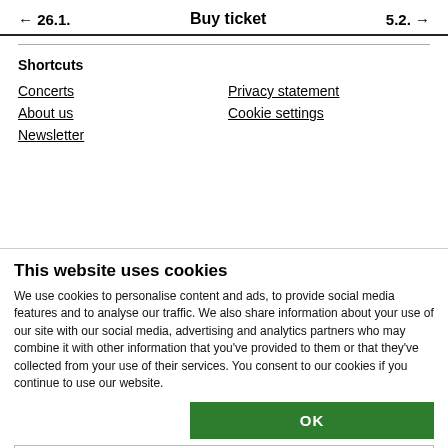← 26.1.    Buy ticket    5.2. →
Shortcuts
Concerts
Privacy statement
About us
Cookie settings
Newsletter
This website uses cookies
We use cookies to personalise content and ads, to provide social media features and to analyse our traffic. We also share information about your use of our site with our social media, advertising and analytics partners who may combine it with other information that you've provided to them or that they've collected from your use of their services. You consent to our cookies if you continue to use our website.
OK
Necessary  Preferences  Statistics  Marketing  Show details